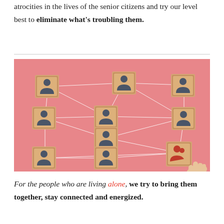atrocities in the lives of the senior citizens and try our level best to eliminate what's troubling them.
[Figure (photo): Wooden blocks with person/user icons on a pink background, connected by white lines forming a network. A hand is placing a block with a highlighted (red) person icon in the bottom right.]
For the people who are living alone, we try to bring them together, stay connected and energized.